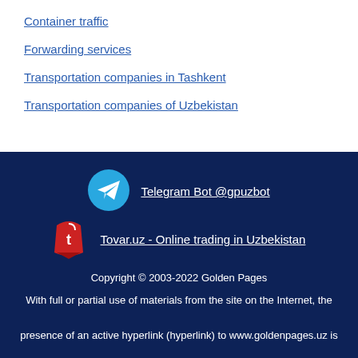Container traffic
Forwarding services
Transportation companies in Tashkent
Transportation companies of Uzbekistan
[Figure (logo): Telegram logo blue circle with white paper plane icon]
Telegram Bot @gpuzbot
[Figure (logo): Tovar.uz red tag logo with letter t]
Tovar.uz - Online trading in Uzbekistan
Copyright © 2003-2022 Golden Pages
With full or partial use of materials from the site on the Internet, the presence of an active hyperlink (hyperlink) to www.goldenpages.uz is